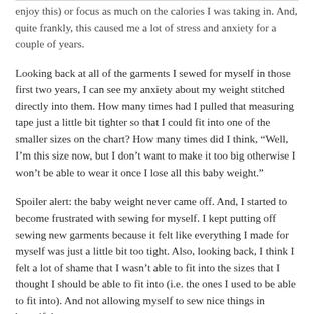hours a day (although looking back, I wonder if I really ever did enjoy this) or focus as much on the calories I was taking in. And, quite frankly, this caused me a lot of stress and anxiety for a couple of years.
Looking back at all of the garments I sewed for myself in those first two years, I can see my anxiety about my weight stitched directly into them. How many times had I pulled that measuring tape just a little bit tighter so that I could fit into one of the smaller sizes on the chart? How many times did I think, “Well, I’m this size now, but I don’t want to make it too big otherwise I won’t be able to wear it once I lose all this baby weight.”
Spoiler alert: the baby weight never came off. And, I started to become frustrated with sewing for myself. I kept putting off sewing new garments because it felt like everything I made for myself was just a little bit too tight. Also, looking back, I think I felt a lot of shame that I wasn’t able to fit into the sizes that I thought I should be able to fit into (i.e. the ones I used to be able to fit into). And not allowing myself to sew nice things in beautiful